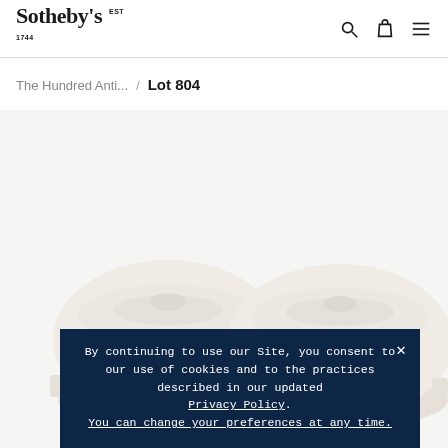Sotheby's EST 1744
The Hundred Anti... / Lot 804
[Figure (photo): Two decorative Chinese porcelain bowls with lids, featuring floral and bird motifs in orange, green, and dark colors on a white background. The bowls are partially cropped at the bottom of the image.]
By continuing to use our Site, you consent to our use of cookies and to the practices described in our updated Privacy Policy. You can change your preferences at any time.